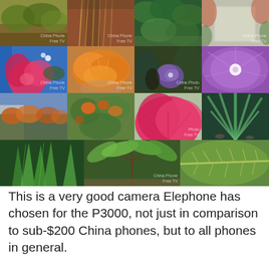[Figure (photo): A 4-row grid collage of 13 plant/flower photographs taken with the Elephone P3000 phone camera. Row 1: 4 images of garden/trees/foliage. Row 2: 4 images of colorful flowers (pink hibiscus, orange fluffy flower, purple hibiscus, purple morning glory closeup). Row 3: 4 images of orange-flowered shrubs, a pink hibiscus, and green spiky plants. Row 4: 3 large close-up images of green plant leaves (aloe-like, tropical tree leaves, large leaf veins).]
This is a very good camera Elephone has chosen for the P3000, not just in comparison to sub-$200 China phones, but to all phones in general.